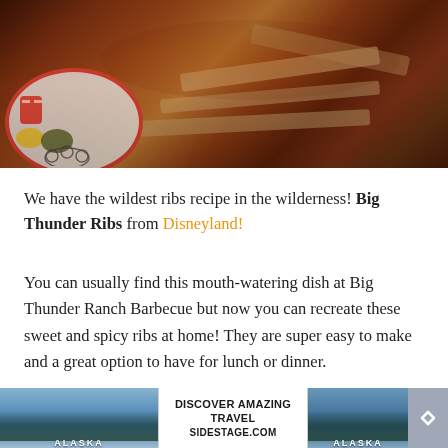[Figure (photo): Close-up photo of barbecue ribs stacked on a white plate with a red rim and Mickey Mouse cartoon decorations on the side. The ribs appear glazed with dark BBQ sauce and are richly browned.]
We have the wildest ribs recipe in the wilderness! Big Thunder Ribs from Disneyland!
You can usually find this mouth-watering dish at Big Thunder Ranch Barbecue but now you can recreate these sweet and spicy ribs at home! They are super easy to make and a great option to have for lunch or dinner.
[Figure (screenshot): Advertisement banner showing Alaska travel imagery with text 'DISCOVER AMAZING TRAVEL SIDESTAGE.COM' and an arrow/scroll button on the right.]